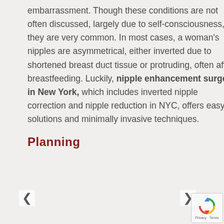embarrassment. Though these conditions are not often discussed, largely due to self-consciousness, they are very common. In most cases, a woman's nipples are asymmetrical, either inverted due to shortened breast duct tissue or protruding, often after breastfeeding. Luckily, nipple enhancement surgery in New York, which includes inverted nipple correction and nipple reduction in NYC, offers easy solutions and minimally invasive techniques.
Planning
[Figure (screenshot): A review card overlay with quote marks, review text 'Before I start my review I'd like to give a background of my health history. I have severe asthma and...', five gold stars, reviewer name 'Lisa', 'view post' link with Yelp logo, avatar icon, left/right navigation arrows, and a reCAPTCHA widget.]